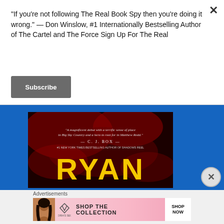“If you’re not following The Real Book Spy then you’re doing it wrong.” — Don Winslow, #1 Internationally Bestselling Author of The Cartel and The Force Sign Up For The Real
Subscribe
[Figure (photo): Book cover advertisement showing a book with large yellow text RYAN on a dark red and black background, with a quote from C. J. Box. The ad is displayed on a blue background banner.]
Advertisements
[Figure (photo): Victoria's Secret advertisement with text SHOP THE COLLECTION and SHOP NOW button, pink gradient background with a person on the left side.]